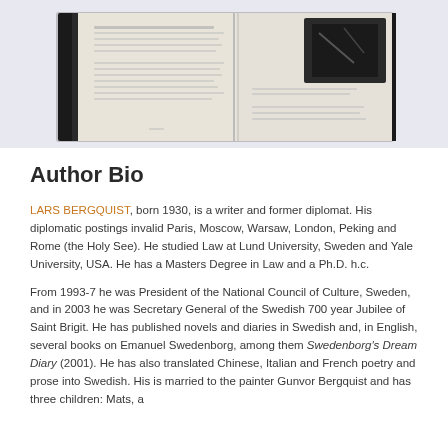[Figure (photo): An open hardcover book photographed from above, showing two pages with text and an image on the right page. The book has a dark cover.]
Author Bio
LARS BERGQUIST, born 1930, is a writer and former diplomat. His diplomatic postings invalid Paris, Moscow, Warsaw, London, Peking and Rome (the Holy See). He studied Law at Lund University, Sweden and Yale University, USA. He has a Masters Degree in Law and a Ph.D. h.c.
From 1993-7 he was President of the National Council of Culture, Sweden, and in 2003 he was Secretary General of the Swedish 700 year Jubilee of Saint Brigit. He has published novels and diaries in Swedish and, in English, several books on Emanuel Swedenborg, among them Swedenborg's Dream Diary (2001). He has also translated Chinese, Italian and French poetry and prose into Swedish. His is married to the painter Gunvor Bergquist and has three children: Mats, a